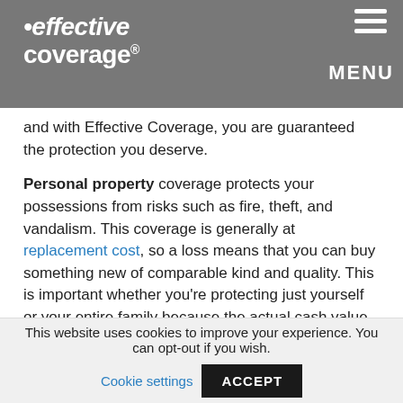effective coverage — MENU
and with Effective Coverage, you are guaranteed the protection you deserve.
Personal property coverage protects your possessions from risks such as fire, theft, and vandalism. This coverage is generally at replacement cost, so a loss means that you can buy something new of comparable kind and quality. This is important whether you're protecting just yourself or your entire family because the actual cash value of your property is not enough to replace it.
This website uses cookies to improve your experience. You can opt-out if you wish. Cookie settings ACCEPT